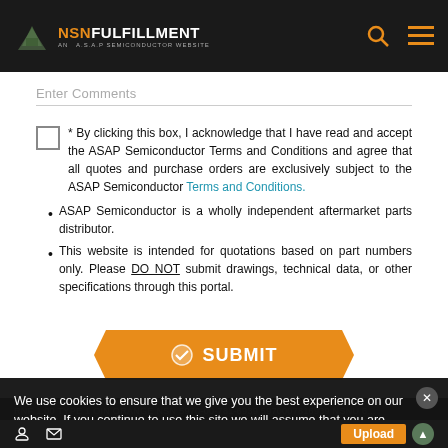NSNFULFILLMENT AN A.S.A.P SEMICONDUCTOR WEBSITE
Enter Comments
* By clicking this box, I acknowledge that I have read and accept the ASAP Semiconductor Terms and Conditions and agree that all quotes and purchase orders are exclusively subject to the ASAP Semiconductor Terms and Conditions.
ASAP Semiconductor is a wholly independent aftermarket parts distributor.
This website is intended for quotations based on part numbers only. Please DO NOT submit drawings, technical data, or other specifications through this portal.
[Figure (other): Orange trapezoid-shaped SUBMIT button with checkmark icon]
We use cookies to ensure that we give you the best experience on our website. If you continue to use this site we will assume that you are happy with it.
Upload